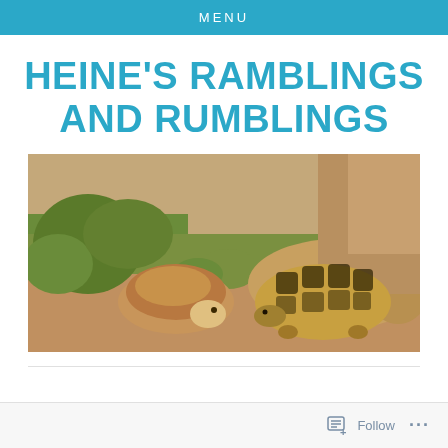MENU
HEINE'S RAMBLINGS AND RUMBLINGS
[Figure (photo): Photo of a stuffed toy tortoise (brown, plush) facing a real leopard tortoise on sandy ground with green grass]
Follow ...